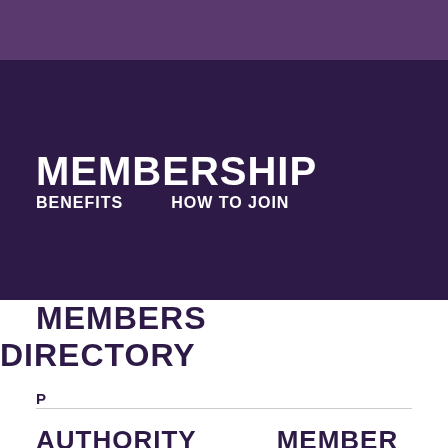MEMBERSHIP
BENEFITS
HOW TO JOIN
MEMBERS DIRECTORY
P
AUTHORITY
MEMBER